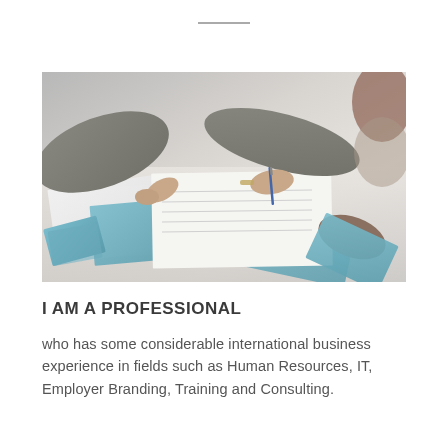[Figure (photo): Two people working at a desk with documents and papers, one pointing and one writing with a pen, with colorful printed materials spread on the table.]
I AM A PROFESSIONAL
who has some considerable international business experience in fields such as Human Resources, IT, Employer Branding, Training and Consulting.